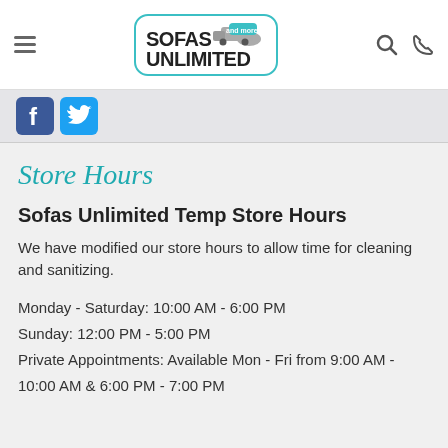Sofas Unlimited and more! [logo/nav bar]
[Figure (logo): Sofas Unlimited and more! logo with teal border and truck graphic, hamburger menu, search and phone icons]
[Figure (logo): Facebook and Twitter social media icons]
Store Hours
Sofas Unlimited Temp Store Hours
We have modified our store hours to allow time for cleaning and sanitizing.
Monday - Saturday: 10:00 AM - 6:00 PM
Sunday: 12:00 PM - 5:00 PM
Private Appointments: Available Mon - Fri from 9:00 AM - 10:00 AM & 6:00 PM - 7:00 PM